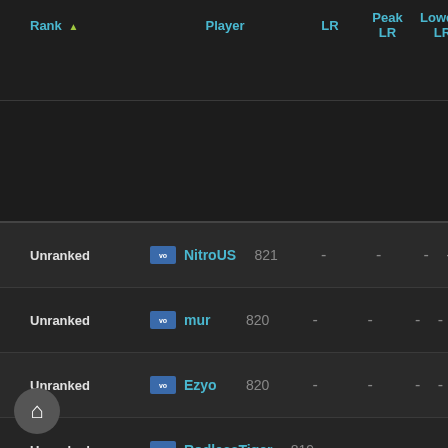| Rank | Player | LR | Peak LR | Lowest LR | Win % | Wi Stre... |
| --- | --- | --- | --- | --- | --- | --- |
| Unranked | NitroUS | 821 | - | - | - | - |
| Unranked | mur | 820 | - | - | - | - |
| Unranked | Ezyo | 820 | - | - | - | - |
| Unranked | RodlessTiger | 819 | - | - | - | - |
| Unranked | Aleeex | 819 | - | - | - | - |
| Unranked | Slicedupsky | 817 | - | - | - | - |